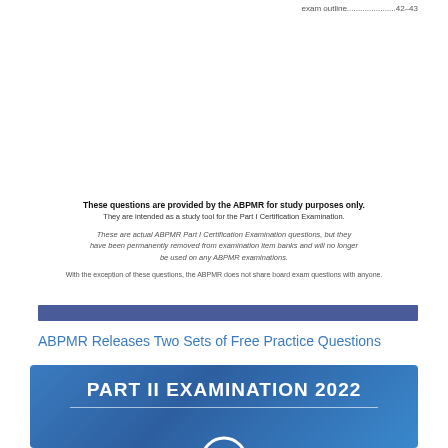exam outline…42–43
These questions are provided by the ABPMR for study purposes only.
They are intended as a study tool for the Part I Certification Examination.

These are actual ABPMR Part I Certification Examination questions, but they have been permanently removed from examination item banks and will no longer be used on any ABPMR examinations.

With the exception of these questions, the ABPMR does not share board exam questions with anyone.
[Figure (other): Solid dark blue/purple horizontal bar]
ABPMR Releases Two Sets of Free Practice Questions
[Figure (infographic): Blue gradient banner with text PART II EXAMINATION 2022 and a white circular icon with lines below]